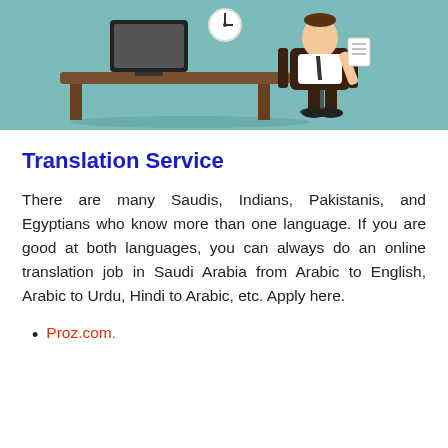[Figure (illustration): Cartoon illustration of a businessman sitting at a brown desk with a computer monitor, wearing a white shirt and tie, on a teal/green background]
Translation Service
There are many Saudis, Indians, Pakistanis, and Egyptians who know more than one language. If you are good at both languages, you can always do an online translation job in Saudi Arabia from Arabic to English, Arabic to Urdu, Hindi to Arabic, etc. Apply here.
Proz.com.